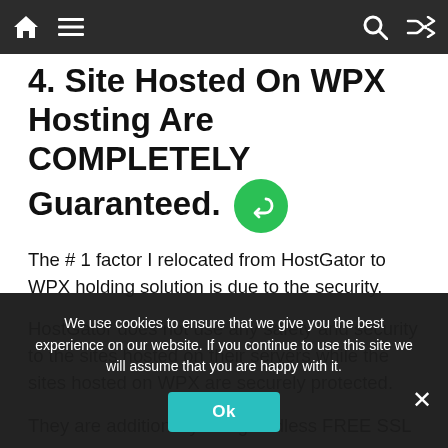Navigation bar with home icon, menu icon, search icon, shuffle icon
4. Site Hosted On WPX Hosting Are COMPLETELY Guaranteed.
The # 1 factor I relocated from HostGator to WPX holding solution is due to the security.
HostGator does not use any safety and security to the sites hosted on their servers while the sites hosted on WPX are securely protected.
They are additionally using endless FREE SSL
We use cookies to ensure that we give you the best experience on our website. If you continue to use this site we will assume that you are happy with it.